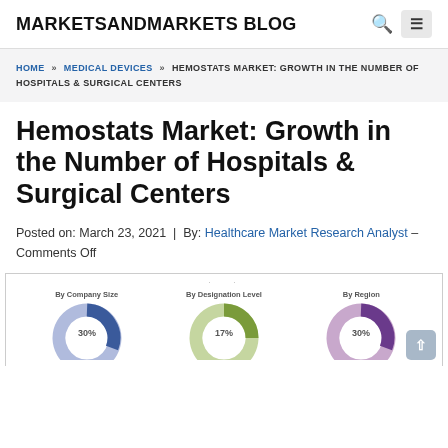MARKETSANDMARKETS BLOG
HOME » MEDICAL DEVICES » HEMOSTATS MARKET: GROWTH IN THE NUMBER OF HOSPITALS & SURGICAL CENTERS
Hemostats Market: Growth in the Number of Hospitals & Surgical Centers
Posted on: March 23, 2021 | By: Healthcare Market Research Analyst – Comments Off
[Figure (donut-chart): Three donut charts labeled 'By Company Size', 'By Designation Level', and 'By Region', partially visible at the bottom of the page. Each shows percentage breakdowns with different color segments.]